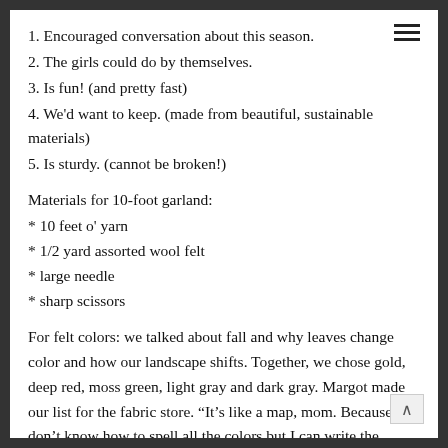1. Encouraged conversation about this season.
2. The girls could do by themselves.
3. Is fun! (and pretty fast)
4. We'd want to keep. (made from beautiful, sustainable materials)
5. Is sturdy. (cannot be broken!)
Materials for 10-foot garland:
* 10 feet o' yarn
* 1/2 yard assorted wool felt
* large needle
* sharp scissors
For felt colors: we talked about fall and why leaves change color and how our landscape shifts. Together, we chose gold, deep red, moss green, light gray and dark gray. Margot made our list for the fabric store. “It’s like a map, mom. Because I don’t know how to spell all the colors but I can write the numbers and then draw the colors and then you can, like,